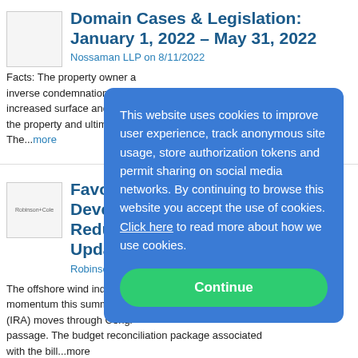Domain Cases & Legislation: January 1, 2022 – May 31, 2022
Nossaman LLP on 8/11/2022
Facts: The property owner alleged inverse condemnation in the increased surface and storm the property and ultimately. The...more
Favorable Winds Development – Reduction Act a Updates
Robinson+Cole Environmen
The offshore wind industry momentum this summer as (IRA) moves through Congr passage. The budget reconciliation package associated with the bill...more
This website uses cookies to improve user experience, track anonymous site usage, store authorization tokens and permit sharing on social media networks. By continuing to browse this website you accept the use of cookies. Click here to read more about how we use cookies.